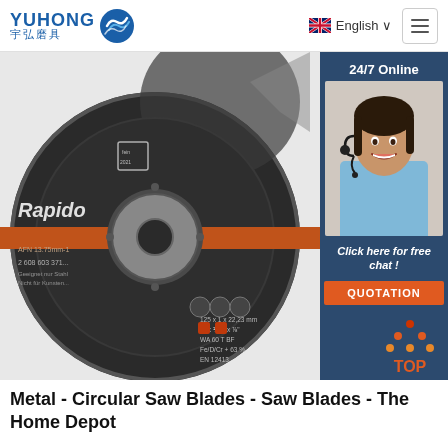YUHONG 宇弘磨具 | English | Menu
[Figure (photo): Close-up photo of a Rapido metal cutting disc / circular saw blade, grey with orange stripe, safety symbols visible, product number 2 608 603 371]
[Figure (photo): Customer service agent woman smiling with headset, 24/7 Online support sidebar with dark blue background, 'Click here for free chat!' text and orange QUOTATION button]
[Figure (other): TOP navigation arrow icon in orange/red dots triangle shape with 'TOP' text in orange]
Metal - Circular Saw Blades - Saw Blades - The Home Depot